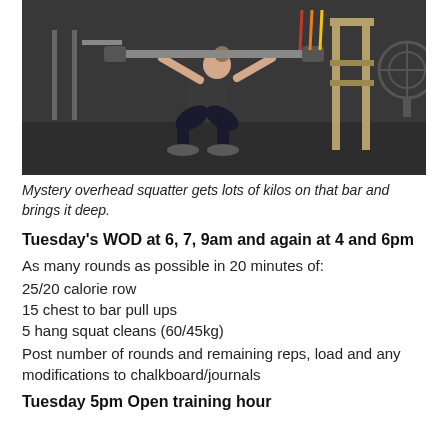[Figure (photo): Person performing an overhead squat in a gym setting with a barbell, crouching low. Various gym equipment visible in background.]
Mystery overhead squatter gets lots of kilos on that bar and brings it deep.
Tuesday's WOD at 6, 7, 9am and again at 4 and 6pm
As many rounds as possible in 20 minutes of:
25/20 calorie row
15 chest to bar pull ups
5 hang squat cleans (60/45kg)
Post number of rounds and remaining reps, load and any modifications to chalkboard/journals
Tuesday 5pm Open training hour